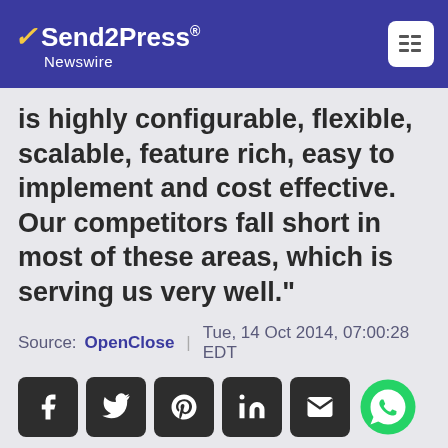Send2Press Newswire
is highly configurable, flexible, scalable, feature rich, easy to implement and cost effective. Our competitors fall short in most of these areas, which is serving us very well."
Source: OpenClose | Tue, 14 Oct 2014, 07:00:28 EDT
[Figure (infographic): Social share buttons: Facebook, Twitter, Pinterest, LinkedIn, Email, WhatsApp]
WEST PALM BEACH, Fla., Oct. 14, 2014 (SEND2PRESS NEWSWIRE) — OpenClose, an